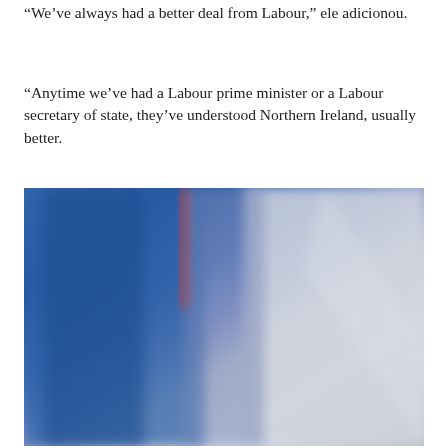“We’ve always had a better deal from Labour,” ele adicionou.
“Anytime we’ve had a Labour prime minister or a Labour secretary of state, they’ve understood Northern Ireland, usually better.
[Figure (photo): A blurry close-up photograph showing a blue surface on the left and a grey/white surface on the right, with a red element visible in the upper middle area. The image appears to be out of focus.]